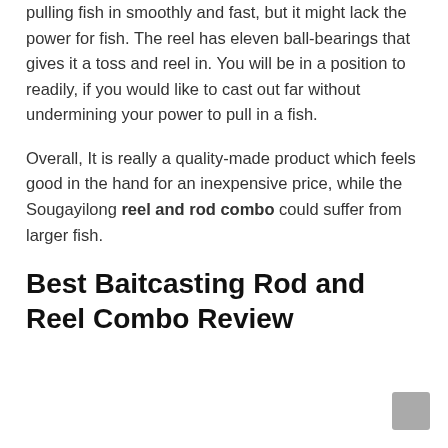pulling fish in smoothly and fast, but it might lack the power for fish. The reel has eleven ball-bearings that gives it a toss and reel in. You will be in a position to readily, if you would like to cast out far without undermining your power to pull in a fish.
Overall, It is really a quality-made product which feels good in the hand for an inexpensive price, while the Sougayilong reel and rod combo could suffer from larger fish.
Best Baitcasting Rod and Reel Combo Review